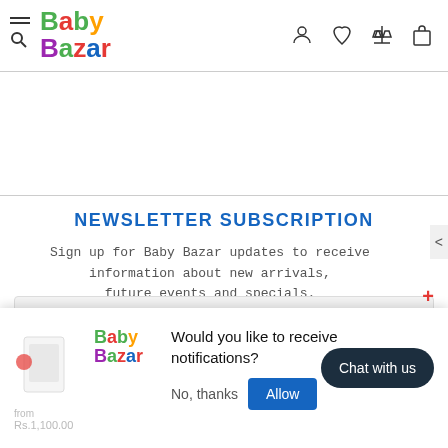[Figure (logo): Baby Bazar logo with colorful letters in green, red, blue, yellow, purple]
NEWSLETTER SUBSCRIPTION
Sign up for Baby Bazar updates to receive information about new arrivals, future events and specials.
Enter Your Email Address
SUBSCRIBE!
[Figure (logo): Baby Bazar logo - small version in notification popup]
Would you like to receive notifications?
No, thanks
Allow
Chat with us
from Rs.1,100.00